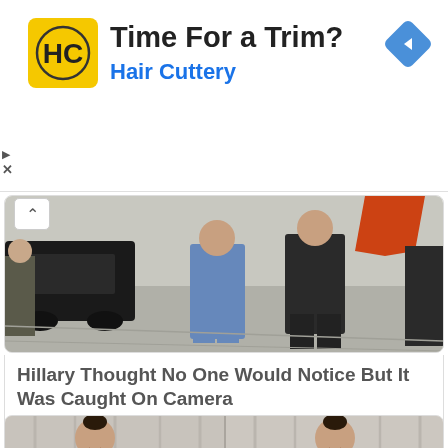[Figure (other): Advertisement banner for Hair Cuttery. Yellow/black HC logo on left, 'Time For a Trim?' in bold black, 'Hair Cuttery' in blue. Navigation arrow diamond icon top right. Play/close icons bottom-left of ad.]
Time For a Trim?
Hair Cuttery
[Figure (photo): Outdoor tarmac scene. Person in blue pantsuit walking, person in black suit behind, black vehicle on left, camera operator visible. Red shape visible at top center.]
Hillary Thought No One Would Notice But It Was Caught On Camera
Prozoro
[Figure (photo): Side-by-side comparison photos of a woman in a purple polka-dot outfit sitting on a couch, smiling with hand on chin.]